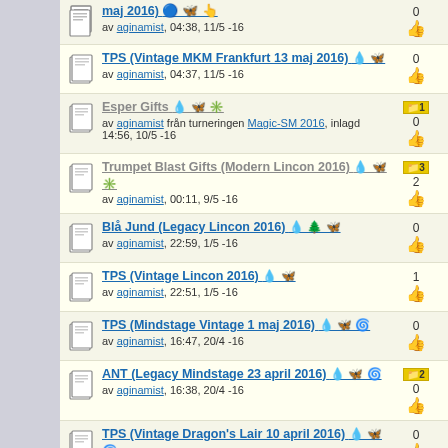TPS (Vintage MKM Frankfurt 13 maj 2016) av aginamist, 04:37, 11/5 -16 | 0
Esper Gifts av aginamist från turneringen Magic-SM 2016, inlagd 14:56, 10/5 -16 | folder:1, 0
Trumpet Blast Gifts (Modern Lincon 2016) av aginamist, 00:11, 9/5 -16 | folder:3, 2
Blå Jund (Legacy Lincon 2016) av aginamist, 22:59, 1/5 -16 | 0
TPS (Vintage Lincon 2016) av aginamist, 22:51, 1/5 -16 | 1
TPS (Mindstage Vintage 1 maj 2016) av aginamist, 16:47, 20/4 -16 | 0
ANT (Legacy Mindstage 23 april 2016) av aginamist, 16:38, 20/4 -16 | folder:2, 0
TPS (Vintage Dragon's Lair 10 april 2016) av aginamist, 05:48, 5/4 -16 | 0
Higlander GLOD (VM 27 mars 2016) av aginamist, 20:27, 28/3 -16 | 0
STAX (Vintage SM Gothcon 26 april 2016) av aginamist, 20:23, 28/3 -16 | 0